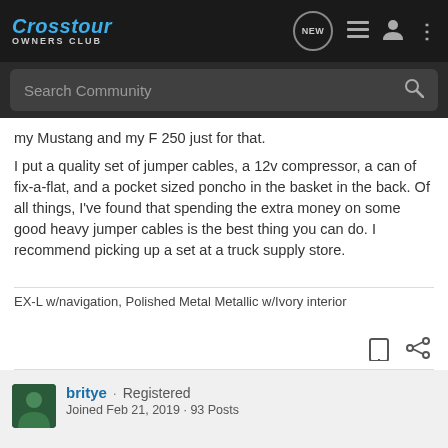Crosstour OWNERS CLUB
my Mustang and my F 250 just for that.
I put a quality set of jumper cables, a 12v compressor, a can of fix-a-flat, and a pocket sized poncho in the basket in the back. Of all things, I've found that spending the extra money on some good heavy jumper cables is the best thing you can do. I recommend picking up a set at a truck supply store.
EX-L w/navigation, Polished Metal Metallic w/Ivory interior
britye · Registered
Joined Feb 21, 2019 · 93 Posts